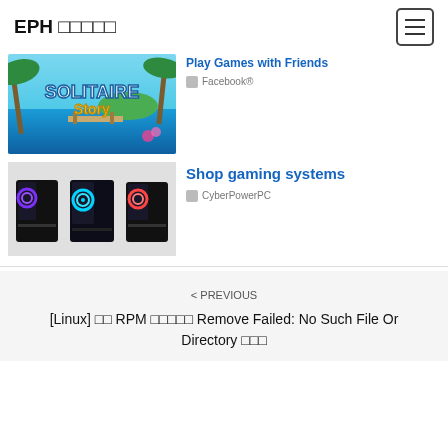EPH □□□□□
[Figure (screenshot): Solitaire Story game ad image with tropical beach background]
Play Games with Friends
Facebook®
[Figure (photo): Three gaming PC tower cases with RGB lighting]
Shop gaming systems
CyberPowerPC
< PREVIOUS
[Linux] □□ RPM □□□□□ Remove Failed: No Such File Or Directory □□□